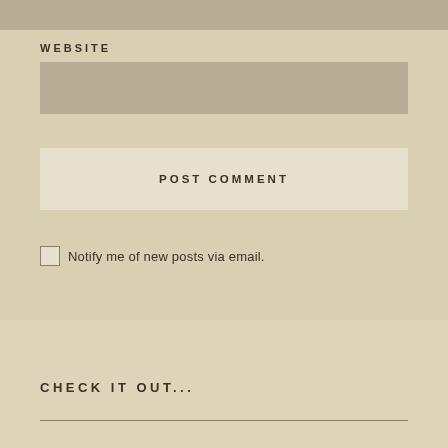WEBSITE
POST COMMENT
Notify me of new posts via email.
CHECK IT OUT...